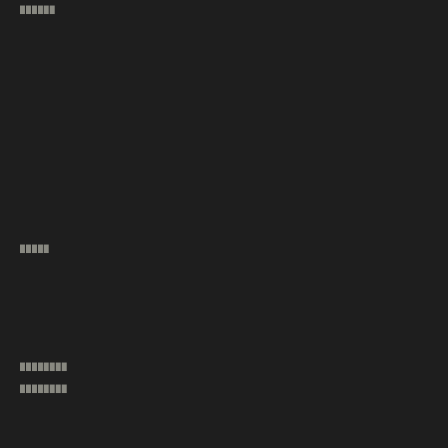██████
█████
████████
████████